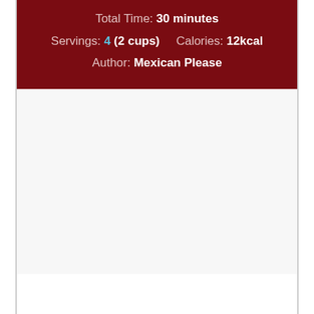Total Time: 30 minutes
Servings: 4 (2 cups)   Calories: 12kcal
Author: Mexican Please